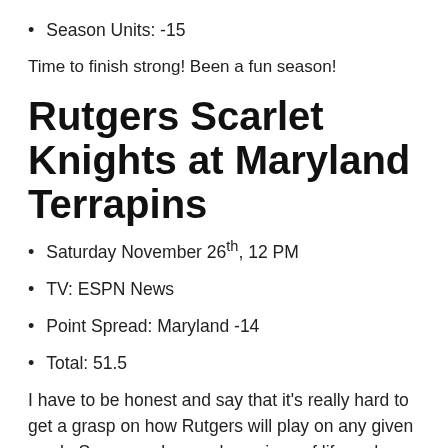Season Units: -15
Time to finish strong! Been a fun season!
Rutgers Scarlet Knights at Maryland Terrapins
Saturday November 26th, 12 PM
TV: ESPN News
Point Spread: Maryland -14
Total: 51.5
I have to be honest and say that it's really hard to get a grasp on how Rutgers will play on any given week. Some weeks we show signs of life and almost pull of a win and ultimately lose a close one or we come out